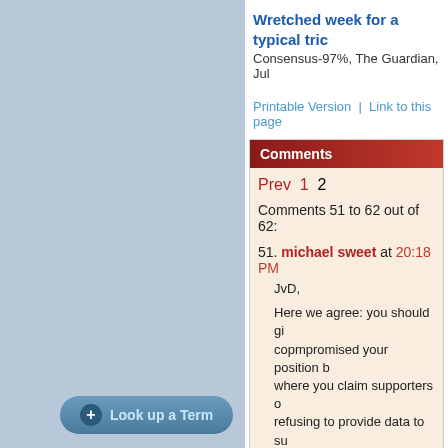Wretched week for a typical tric
Consensus-97%, The Guardian, Jul
Printable Version  |  Link to this page
Comments
Prev  1  2
Comments 51 to 62 out of 62:
51. michael sweet at 20:18 PM
JvD,

Here we agree: you should gi copmpromised your position b where you claim supporters o refusing to provide data to su unsupported opinion is more finding people who agree with
52. JvD at 18:33 PM on 31 July